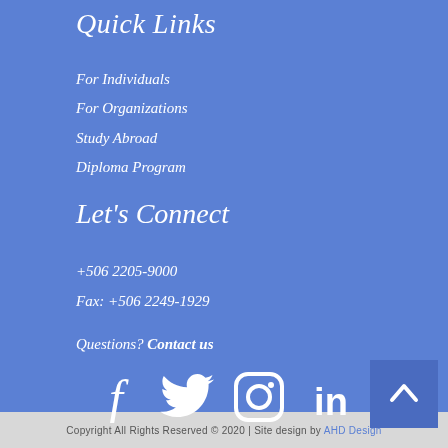Quick Links
For Individuals
For Organizations
Study Abroad
Diploma Program
Let's Connect
+506 2205-9000
Fax: +506 2249-1929
Questions? Contact us
[Figure (illustration): Social media icons: Facebook, Twitter, Instagram, LinkedIn in white on blue background; scroll-to-top button in darker blue with upward chevron]
Copyright All Rights Reserved © 2020 | Site design by AHD Design